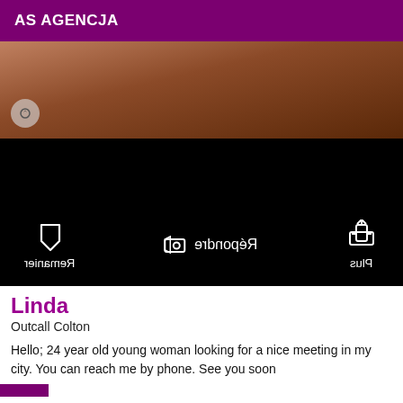AS AGENCJA
[Figure (photo): Partial photo of a person, brown-toned, cropped at top]
[Figure (screenshot): Black panel with mirrored/flipped UI icons and text: Remanier, Répondre (with camera icon), Plus]
Linda
Outcall Colton
Hello; 24 year old young woman looking for a nice meeting in my city. You can reach me by phone. See you soon